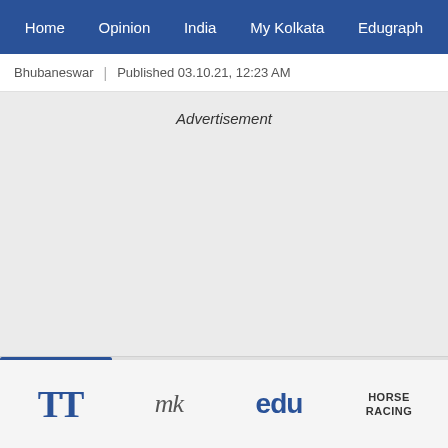Home  Opinion  India  My Kolkata  Edugraph
Bhubaneswar | Published 03.10.21, 12:23 AM
Advertisement
TT  my kolkata  edu  HORSE RACING